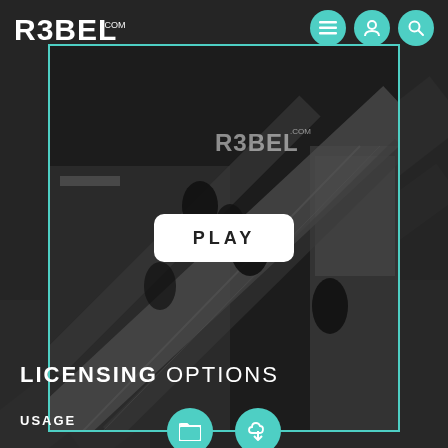[Figure (screenshot): R3BEL.com website screenshot showing a video player with an escalator scene in a shopping mall. The page has a dark background. Top navigation shows the R3BEL.COM logo on the left and three teal circular icons (menu, user, search) on the right. The video player has a teal border, contains a watermark of the R3BEL.COM logo, and a white PLAY button in the center. Below the player are two teal circular icons (folder and download). The bottom section shows 'LICENSING OPTIONS' heading and 'USAGE' label.]
LICENSING OPTIONS
USAGE